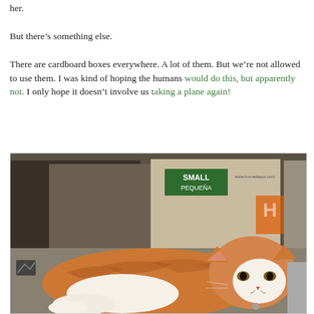her.
But there’s something else.
There are cardboard boxes everywhere. A lot of them. But we’re not allowed to use them. I was kind of hoping the humans would do this, but apparently not. I only hope it doesn’t involve us taking a plane again!
[Figure (photo): An orange and white tabby cat lying in front of cardboard moving boxes, including a Home Depot 'SMALL / PEQUEÑA' box.]